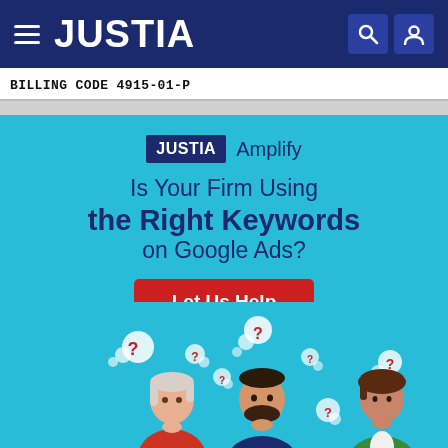JUSTIA
BILLING CODE 4915-01-P
[Figure (infographic): Justia Amplify advertisement banner with headline 'Is Your Firm Using the Right Keywords on Google Ads?', a red 'Let Us Help' button, and three illustrated people with question mark thought bubbles on a light blue background.]